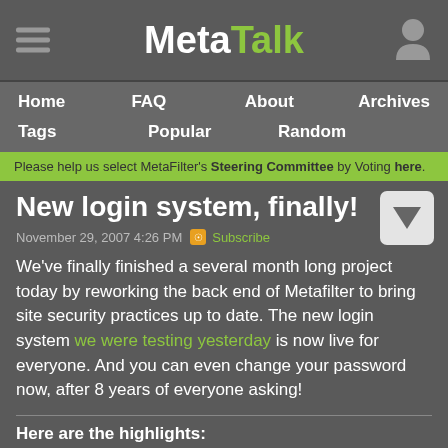MetaTalk
Home  FAQ  About  Archives  Tags  Popular  Random
Please help us select MetaFilter's Steering Committee by Voting here.
New login system, finally!
November 29, 2007 4:26 PM  Subscribe
We've finally finished a several month long project today by reworking the back end of Metafilter to bring site security practices up to date. The new login system we were testing yesterday is now live for everyone. And you can even change your password now, after 8 years of everyone asking!